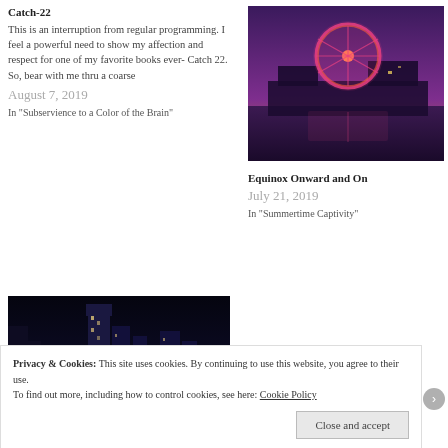Catch-22
This is an interruption from regular programming. I feel a powerful need to show my affection and respect for one of my favorite books ever- Catch 22. So, bear with me thru a coarse
August 7, 2019
In "Subservience to a Color of the Brain"
[Figure (photo): Nighttime photo of a pier with a Ferris wheel lit in pink/red neon, reflecting on water, purple sky background]
Equinox Onward and On
July 21, 2019
In "Summertime Captivity"
[Figure (photo): Nighttime cityscape with illuminated skyscrapers and a cable-stayed bridge reflected in the water]
Sleep in Circles
Privacy & Cookies: This site uses cookies. By continuing to use this website, you agree to their use.
To find out more, including how to control cookies, see here: Cookie Policy
Close and accept